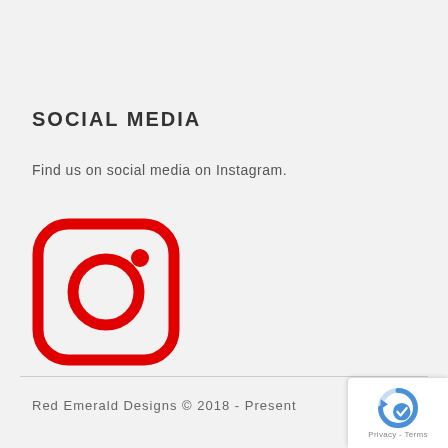SOCIAL MEDIA
Find us on social media on Instagram.
[Figure (logo): Instagram logo icon in red — rounded square outline with a circle and a dot inside, representing the Instagram brand.]
Red Emerald Designs © 2018 - Present